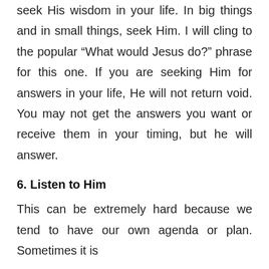seek His wisdom in your life. In big things and in small things, seek Him. I will cling to the popular “What would Jesus do?” phrase for this one. If you are seeking Him for answers in your life, He will not return void. You may not get the answers you want or receive them in your timing, but he will answer.
6. Listen to Him
This can be extremely hard because we tend to have our own agenda or plan. Sometimes it is